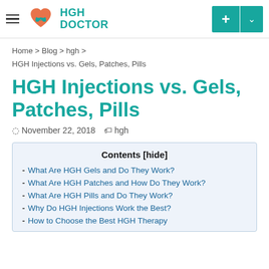HGH DOCTOR
Home > Blog > hgh > HGH Injections vs. Gels, Patches, Pills
HGH Injections vs. Gels, Patches, Pills
November 22, 2018   hgh
Contents [hide]
- What Are HGH Gels and Do They Work?
- What Are HGH Patches and How Do They Work?
- What Are HGH Pills and Do They Work?
- Why Do HGH Injections Work the Best?
- How to Choose the Best HGH Therapy